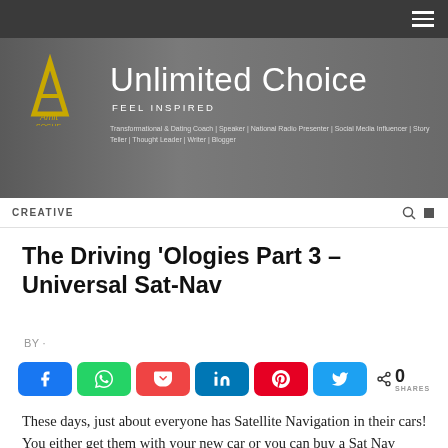Unlimited Choice — FEEL INSPIRED — Transformational & Dating Coach | Speaker | National Radio Presenter | Social Media Influencer | Story Teller | Thought Leader | Writer | Blogger
The Driving 'Ologies Part 3 – Universal Sat-Nav
BY ·
[Figure (other): Social share buttons row: Facebook (blue), WhatsApp (green), Pocket (red), LinkedIn (navy), Pinterest (crimson), Twitter (light blue), share count showing 0 SHARES]
These days, just about everyone has Satellite Navigation in their cars! You either get them with your new car or you can buy a Sat Nav portable unit for about £200. I first got mine about 18 months ago and I personally think it is one of my favourite technological addi